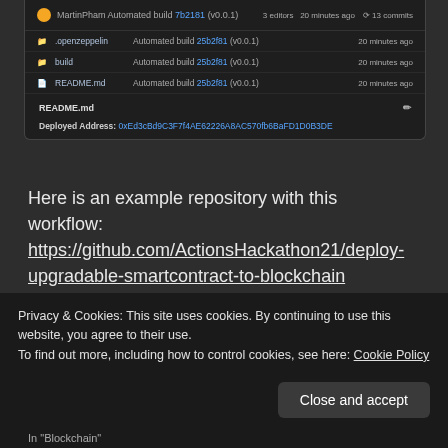[Figure (screenshot): GitHub repository screenshot showing MartinPham Automated build 7b2181 (v0.0.1) with files .openzeppelin, build, README.md — all showing Automated build 25b2f81 (v0.0.1) 20 minutes ago. README.md section shows Deployed Address: 0xEd3cBd9C3F7f4AE62226A8AC570fb6BaFD1D0B3DE]
Here is an example repository with this workflow: https://github.com/ActionsHackathon21/deploy-upgradable-smartcontract-to-blockchain
Privacy & Cookies: This site uses cookies. By continuing to use this website, you agree to their use.
To find out more, including how to control cookies, see here: Cookie Policy
In "Blockchain"